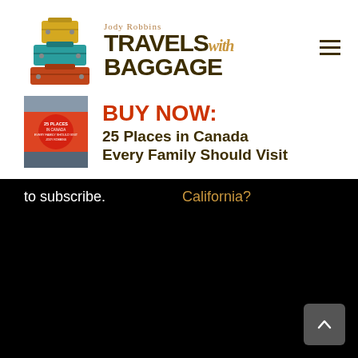[Figure (logo): Jody Robbins Travels with Baggage logo with luggage stack illustration and stylized text]
[Figure (illustration): Book cover for '25 Places in Canada Every Family Should Visit' with red maple leaf and travel photos]
BUY NOW: 25 Places in Canada Every Family Should Visit
to subscribe.
California?
Email Address
Subscribe